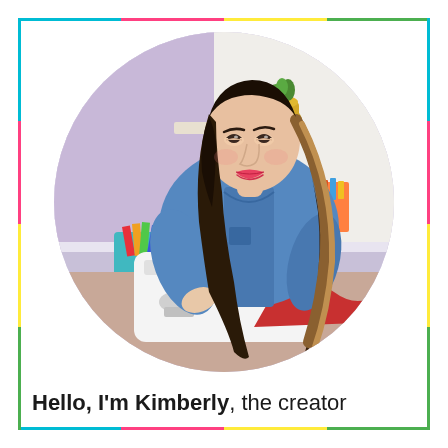[Figure (photo): Circular cropped photo of a woman with long dark wavy hair wearing a denim shirt, smiling and looking down at a sewing machine. Background shows a craft room with colorful supplies.]
Hello, I'm Kimberly, the creator